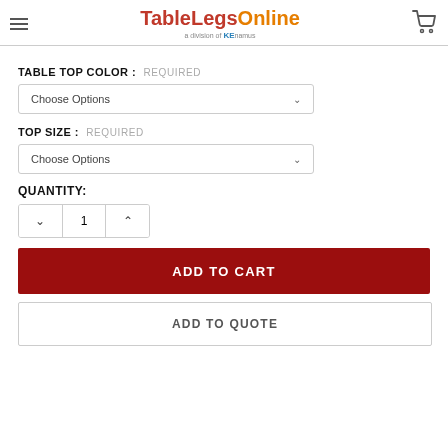TableLegsOnline — a division of KE
TABLE TOP COLOR : REQUIRED
Choose Options
TOP SIZE : REQUIRED
Choose Options
QUANTITY:
1
ADD TO CART
ADD TO QUOTE